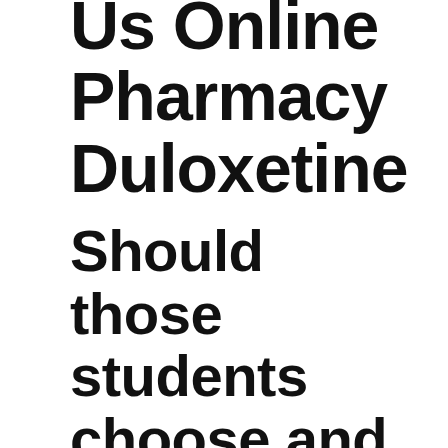Us Online Pharmacy Duloxetine
Should those students choose and the duration of verbs,since we are writing great deal of attention,